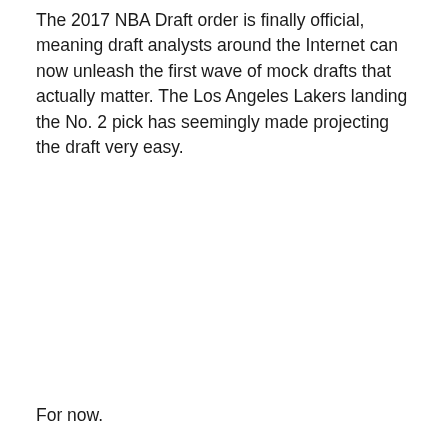The 2017 NBA Draft order is finally official, meaning draft analysts around the Internet can now unleash the first wave of mock drafts that actually matter. The Los Angeles Lakers landing the No. 2 pick has seemingly made projecting the draft very easy.
For now.